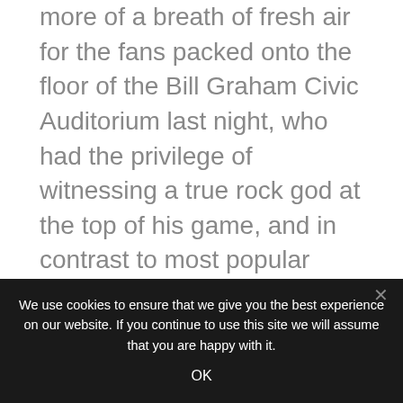more of a breath of fresh air for the fans packed onto the floor of the Bill Graham Civic Auditorium last night, who had the privilege of witnessing a true rock god at the top of his game, and in contrast to most popular music acts today: sans Auto-Tune, pre-recorded backing vocals, an army of dancers, and other artificial sweeteners.  Billy Corgan and his Smashing Pumpkins are legendary for their layered, sweeping guitar-based sound and his unique, soul-baring vocals delivering authentic, sometimes fairly dark lyrics and sentiments.
We use cookies to ensure that we give you the best experience on our website. If you continue to use this site we will assume that you are happy with it.
OK